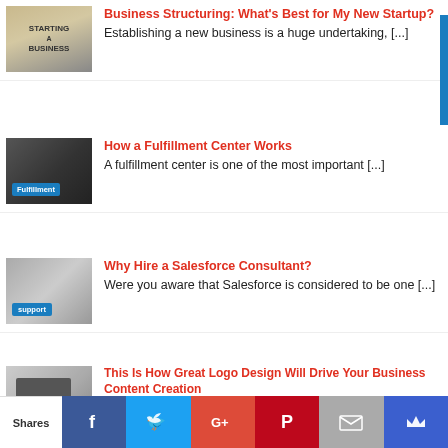Business Structuring: What's Best for My New Startup? — Establishing a new business is a huge undertaking, [...]
How a Fulfillment Center Works — A fulfillment center is one of the most important [...]
Why Hire a Salesforce Consultant? — Were you aware that Salesforce is considered to be one [...]
This Is How Great Logo Design Will Drive Your Business Content Creation — Did you know that 60 percent of
Shares